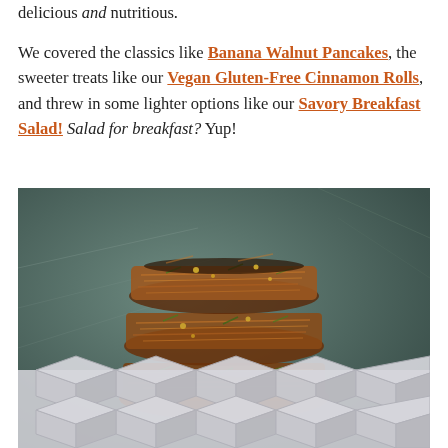delicious and nutritious.

We covered the classics like Banana Walnut Pancakes, the sweeter treats like our Vegan Gluten-Free Cinnamon Rolls, and threw in some lighter options like our Savory Breakfast Salad! Salad for breakfast? Yup!
[Figure (photo): A stack of savory vegetable breakfast fritters/patties with shredded vegetables and herbs, photographed on a dark teal/grey background. The bottom portion of the image has a geometric diamond/cube pattern overlay in light grey.]